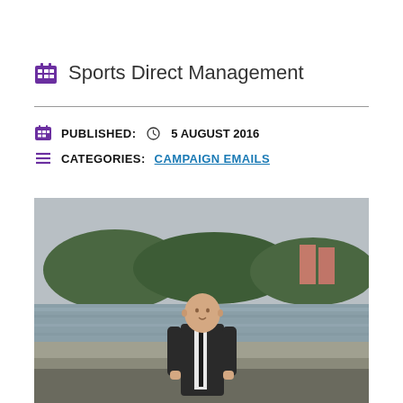Sports Direct Management
PUBLISHED: 5 AUGUST 2016
CATEGORIES: CAMPAIGN EMAILS
[Figure (photo): A bald man in a dark suit and black tie standing outdoors near a river, with trees and buildings in the background on an overcast day.]